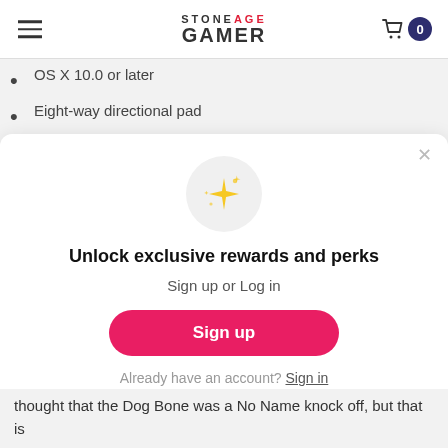Stone Age Gamer — navigation header with logo and cart
OS X 10.0 or later
Eight-way directional pad
Four digital buttons
[Figure (infographic): Sparkle/star emoji icon inside a light grey circle]
Unlock exclusive rewards and perks
Sign up or Log in
Sign up
Already have an account? Sign in
thought that the Dog Bone was a No Name knock off, but that is